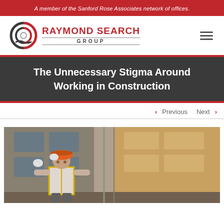A member of the Sanford Rose Associates network of offices.
[Figure (logo): Raymond Search Group logo with circular icon and red text]
The Unnecessary Stigma Around Working in Construction
< Previous   Next >
[Figure (photo): A construction worker in an orange hard hat and yellow safety vest leaning against a wall at a construction site]